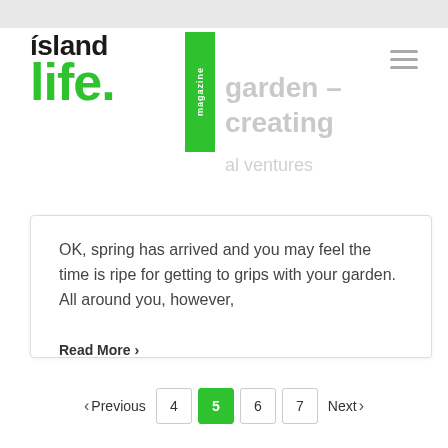[Figure (logo): Island Life Magazine logo — black 'island' text and green 'life.' text with green vertical 'magazine' badge]
OK, spring has arrived and you may feel the time is ripe for getting to grips with your garden. All around you, however,
Read More >
< Previous  4  5  6  7  Next >